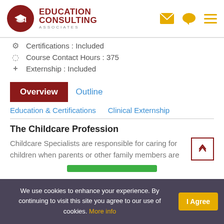EDUCATION CONSULTING ASSOCIATES
Certifications : Included
Course Contact Hours : 375
Externship : Included
Overview | Outline
Education & Certifications | Clinical Externship
The Childcare Profession
Childcare Specialists are responsible for caring for children when parents or other family members are
We use cookies to enhance your experience. By continuing to visit this site you agree to our use of cookies. More info